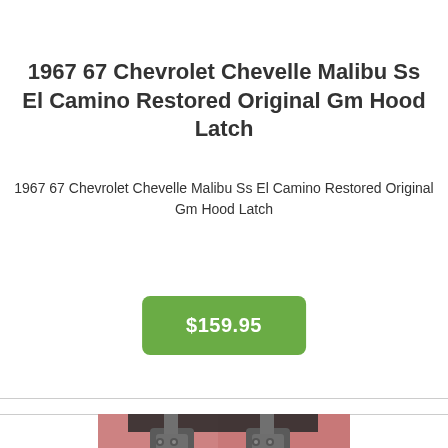1967 67 Chevrolet Chevelle Malibu Ss El Camino Restored Original Gm Hood Latch
1967 67 Chevrolet Chevelle Malibu Ss El Camino Restored Original Gm Hood Latch
$159.95
[Figure (photo): Photo of two hood latches placed on a pink/red cloth surface, showing gray metal hardware]